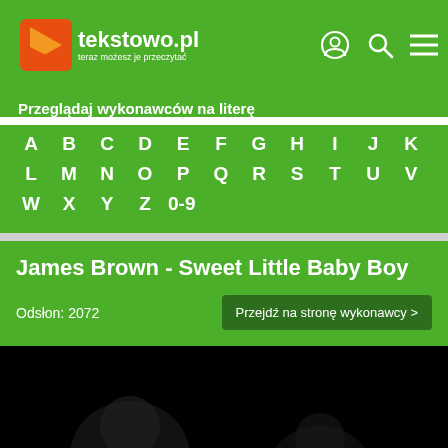tekstowo.pl - teraz możesz je przeczytać
Przeglądaj wykonawców na literę
A B C D E F G H I J K L M N O P Q R S T U V W X Y Z 0-9
James Brown - Sweet Little Baby Boy
Odsłon: 2072
Przejdź na stronę wykonawcy >
[Figure (photo): Dark/black area with faint silhouette image in the lower portion]